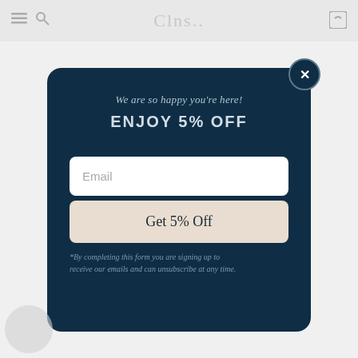Clns...
We are so happy you're here!
ENJOY 5% OFF
Email
Get 5% Off
*By completing this form you are signing up to receive our emails and can unsubscribe at any time.